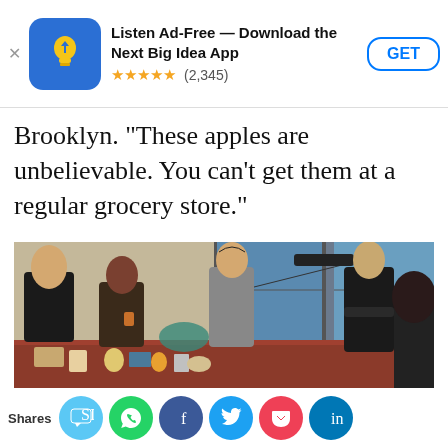[Figure (other): App store advertisement banner for 'Next Big Idea App' with blue icon showing a lightbulb, star rating 5 stars (2,345 reviews), and GET button]
Brooklyn. “These apples are unbelievable. You can’t get them at a regular grocery store.”
[Figure (photo): Group of people in an office/meeting room setting around a conference table with food and drinks. One person holds a boom microphone. Windows visible in background.]
Shares [social share icons: SMS, WhatsApp, Facebook, Twitter, Pocket, LinkedIn]